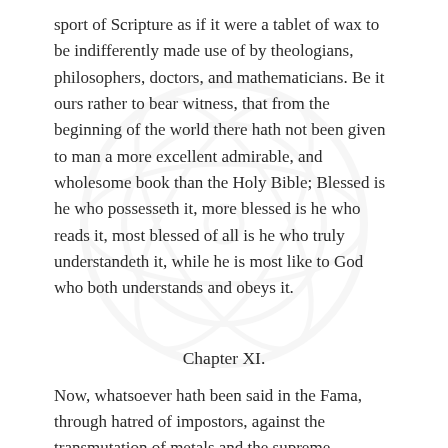sport of Scripture as if it were a tablet of wax to be indifferently made use of by theologians, philosophers, doctors, and mathematicians. Be it ours rather to bear witness, that from the beginning of the world there hath not been given to man a more excellent admirable, and wholesome book than the Holy Bible; Blessed is he who possesseth it, more blessed is he who reads it, most blessed of all is he who truly understandeth it, while he is most like to God who both understands and obeys it.
Chapter XI.
Now, whatsoever hath been said in the Fama, through hatred of impostors, against the transmutation of metals and the supreme medicine of the world, we desire to be so understood, that this so great gift of